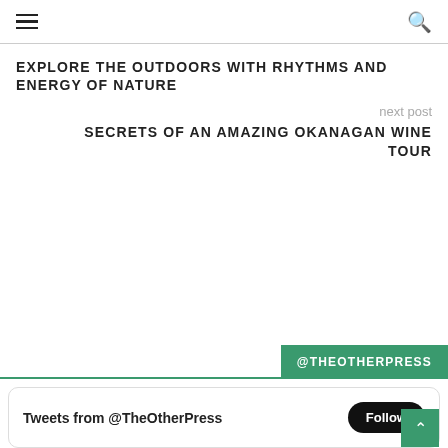≡  🔍
EXPLORE THE OUTDOORS WITH RHYTHMS AND ENERGY OF NATURE
next post
SECRETS OF AN AMAZING OKANAGAN WINE TOUR
@THEOTHERPRESS
Tweets from @TheOtherPress  Follow